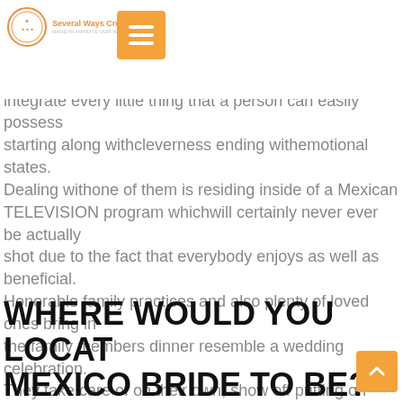Several Ways Credit Services
sfied, religious, conventional, kind, ine will definitely do too. These girls integrate every little thing that a person can easily possess starting along withcleverness ending withemotional states. Dealing withone of them is residing inside of a Mexican TELEVISION program whichwill certainly never ever be actually shot due to the fact that everybody enjoys as well as beneficial. Honorable family practices and also plenty of loved ones bring in the family members dinner resemble a wedding celebration. They take care of on their own, show off putting on stunning dresses or slim matchensemble, attract attention as well as appreciate everyday life. They are strolling festivities always in a really good mood.
WHERE WOULD YOU LOCATE MEXICO BRIDE TO BE?